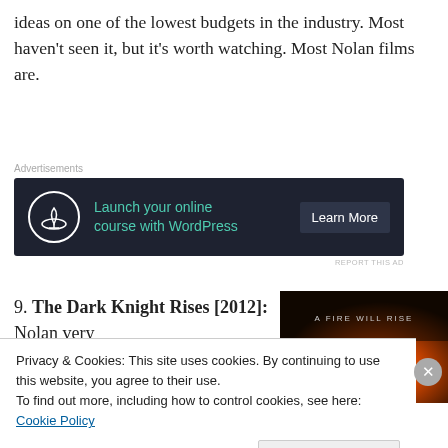ideas on one of the lowest budgets in the industry. Most haven't seen it, but it's worth watching. Most Nolan films are.
[Figure (screenshot): Advertisement banner with dark background: bonsai tree icon, text 'Launch your online course with WordPress', and 'Learn More' button]
9. The Dark Knight Rises [2012]: Nolan very
[Figure (photo): Movie poster for The Dark Knight Rises with text 'A FIRE WILL RISE']
Privacy & Cookies: This site uses cookies. By continuing to use this website, you agree to their use.
To find out more, including how to control cookies, see here: Cookie Policy
Close and accept